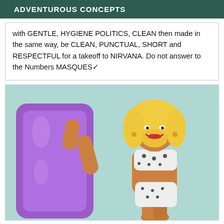ADVENTUROUS CONCEPTS
with GENTLE, HYGIENE POLITICS, CLEAN then made in the same way, be CLEAN, PUNCTUAL, SHORT and RESPECTFUL for a takeoff to NIRVANA. Do not answer to the Numbers MASQUES✓
[Figure (photo): A blonde woman in a white polka-dot bikini holding a purple inflatable pool float/mat, posing in front of a light teal/mint background]